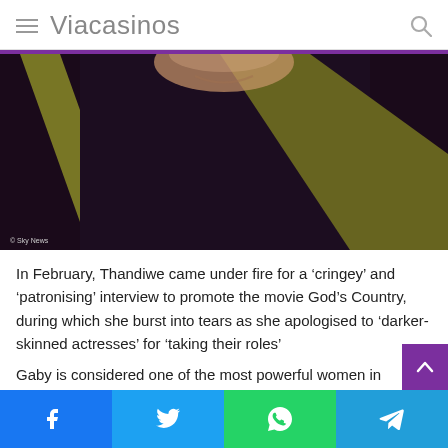Viacasinos
[Figure (photo): Close-up photo of a person wearing a dark long-sleeve top and olive/yellow straps, face partially visible, jaw and neck area shown. Sky News watermark visible in bottom left.]
In February, Thandiwe came under fire for a ‘cringey’ and ‘patronising’ interview to promote the movie God’s Country, during which she burst into tears as she apologised to ‘darker-skinned actresses’ for ‘taking their roles’
Gaby is considered one of the most powerful women in Hollywood, representing stars including Matthew